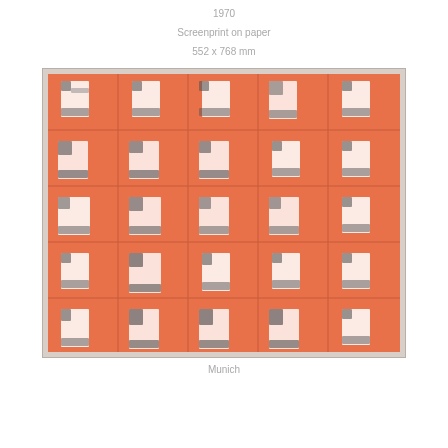1970
Screenprint on paper
552 x 768 mm
[Figure (photo): A screenprint artwork showing a 5x5 grid of repeated C-clamp or bracket-like shapes in white/silver on a salmon/coral orange background, each cell separated by thin lines forming a grid pattern.]
Munich